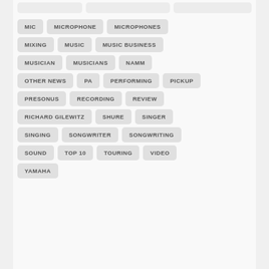MIC
MICROPHONE
MICROPHONES
MIXING
MUSIC
MUSIC BUSINESS
MUSICIAN
MUSICIANS
NAMM
OTHER NEWS
PA
PERFORMING
PICKUP
PRESONUS
RECORDING
REVIEW
RICHARD GILEWITZ
SHURE
SINGER
SINGING
SONGWRITER
SONGWRITING
SOUND
TOP 10
TOURING
VIDEO
YAMAHA